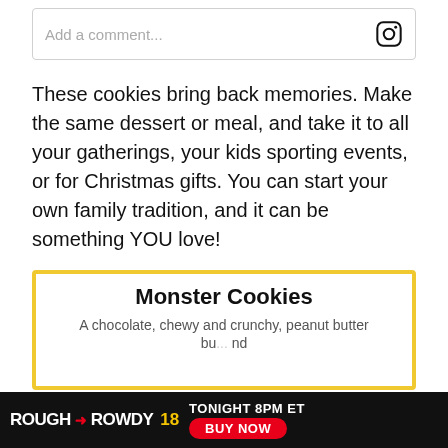[Figure (screenshot): Comment input box with Instagram logo icon on the right, placeholder text 'Add a comment...']
These cookies bring back memories. Make the same dessert or meal, and take it to all your gatherings, your kids sporting events, or for Christmas gifts. You can start your own family tradition, and it can be something YOU love!
These cookies are easy, not time-consuming, and pretty much fail-proof! Here is the recipe:
[Figure (screenshot): Recipe card with yellow border showing title 'Monster Cookies' and subtitle 'A chocolate, chewy and crunchy, peanut butter...']
[Figure (screenshot): Ad banner: ROUGH N ROWDY 18 TONIGHT 8PM ET BUY NOW]